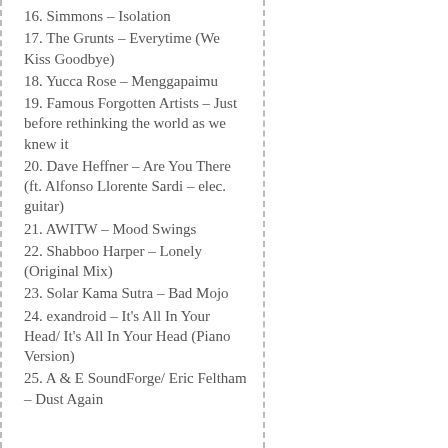16. Simmons – Isolation
17. The Grunts – Everytime (We Kiss Goodbye)
18. Yucca Rose – Menggapaimu
19. Famous Forgotten Artists – Just before rethinking the world as we knew it
20. Dave Heffner – Are You There (ft. Alfonso Llorente Sardi – elec. guitar)
21. AWITW – Mood Swings
22. Shabboo Harper – Lonely (Original Mix)
23. Solar Kama Sutra – Bad Mojo
24. exandroid – It's All In Your Head/ It's All In Your Head (Piano Version)
25. A & E SoundForge/ Eric Feltham – Dust Again